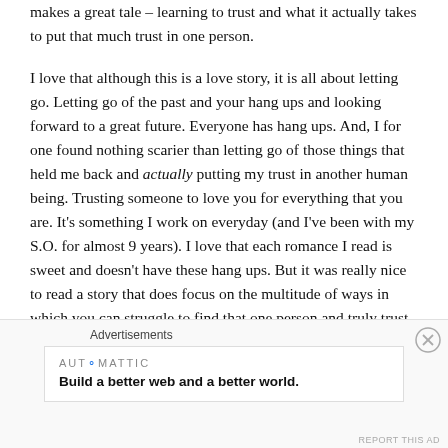makes a great tale – learning to trust and what it actually takes to put that much trust in one person.
I love that although this is a love story, it is all about letting go. Letting go of the past and your hang ups and looking forward to a great future. Everyone has hang ups. And, I for one found nothing scarier than letting go of those things that held me back and actually putting my trust in another human being. Trusting someone to love you for everything that you are. It's something I work on everyday (and I've been with my S.O. for almost 9 years). I love that each romance I read is sweet and doesn't have these hang ups. But it was really nice to read a story that does focus on the multitude of ways in which you can struggle to find that one person and truly trust them.
Advertisements
[Figure (other): Automattic advertisement banner reading 'Build a better web and a better world.' with a close button]